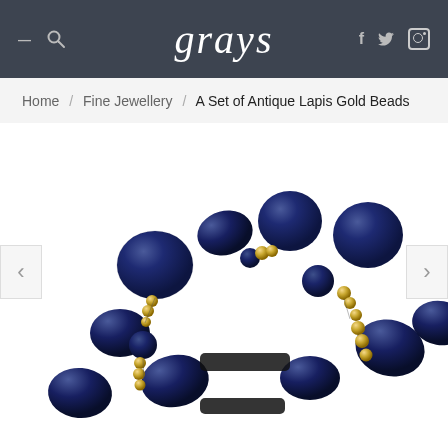grays — navigation header with logo, search, hamburger menu, Facebook, Twitter, Instagram icons
Home / Fine Jewellery / A Set of Antique Lapis Gold Beads
[Figure (photo): Close-up photograph of antique lapis lazuli and gold beads — dark blue oval and round lapis beads interspersed with small gold beads, arranged in multiple strands on a white background. Left and right navigation arrows visible on edges.]